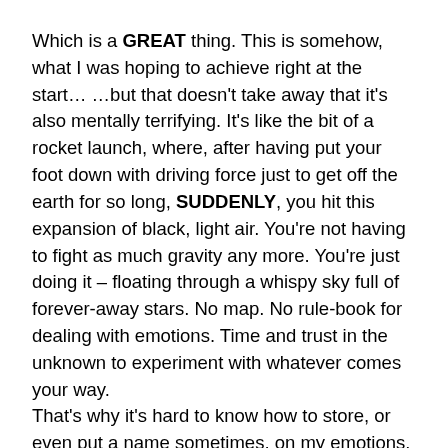Which is a GREAT thing. This is somehow, what I was hoping to achieve right at the start… …but that doesn't take away that it's also mentally terrifying. It's like the bit of a rocket launch, where, after having put your foot down with driving force just to get off the earth for so long, SUDDENLY, you hit this expansion of black, light air. You're not having to fight as much gravity any more. You're just doing it – floating through a whispy sky full of forever-away stars. No map. No rule-book for dealing with emotions. Time and trust in the unknown to experiment with whatever comes your way.
That's why it's hard to know how to store, or even put a name sometimes, on my emotions.
My brain can feel like it's flinging into cartwheels on open patches of fresh grass decorated in daises one minute – then sprinting, terrified of all the open space and clear